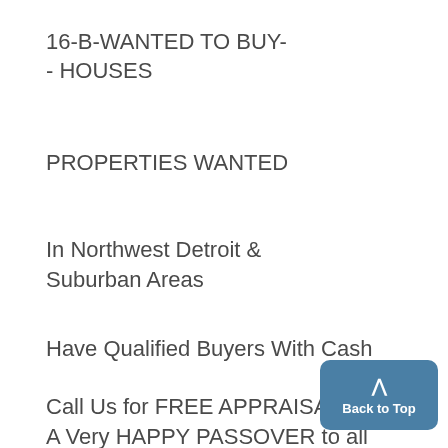16-B-WANTED TO BUY-
- HOUSES
PROPERTIES WANTED
In Northwest Detroit &
Suburban Areas
Have Qualified Buyers With Cash
Call Us for FREE APPRAISAL
A Very HAPPY PASSOVER to all
our friends, clients and the ent